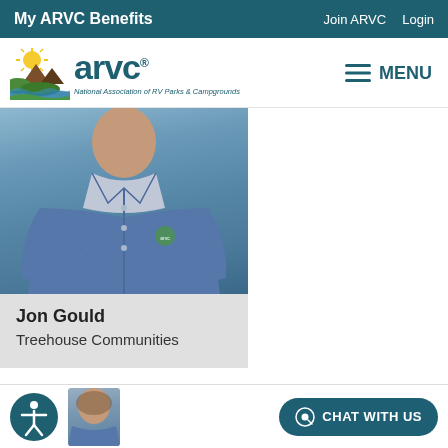My ARVC Benefits | Join ARVC | Login
[Figure (logo): ARVC logo with sun, mountains, and landscape icon plus text 'arvc' and tagline 'National Association of RV Parks & Campgrounds']
MENU
[Figure (photo): Photo of Jon Gould wearing a blue ARVC-branded shirt]
Jon Gould
Treehouse Communities
[Figure (photo): Partial photo of another person at the bottom of the page]
CHAT WITH US